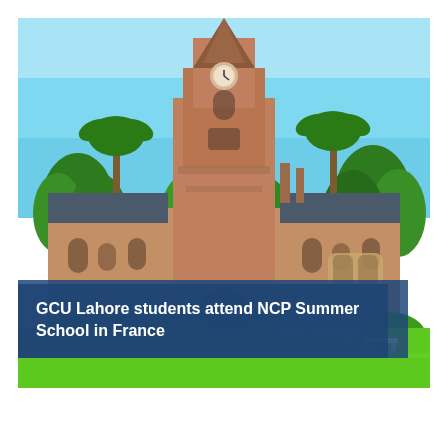[Figure (photo): Photograph of the GCU Lahore (Government College University Lahore) historic building — a large Victorian Gothic-style red brick structure with a tall clock tower, surrounded by lush green trees and a well-maintained green lawn. The sky is bright blue. The foreground shows a green grass area and benches. A dark blue semi-transparent caption bar overlays the lower portion of the image with white bold text, and a bright green strip runs across the very bottom.]
GCU Lahore students attend NCP Summer School in France